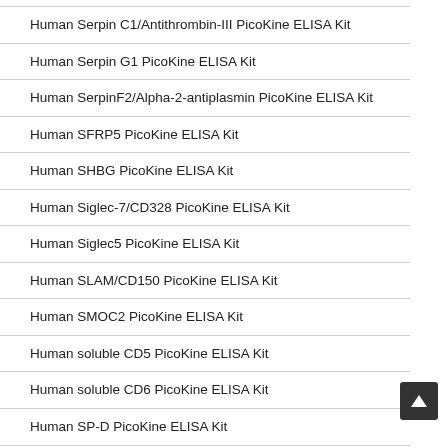Human Serpin C1/Antithrombin-III PicoKine ELISA Kit
Human Serpin G1 PicoKine ELISA Kit
Human SerpinF2/Alpha-2-antiplasmin PicoKine ELISA Kit
Human SFRP5 PicoKine ELISA Kit
Human SHBG PicoKine ELISA Kit
Human Siglec-7/CD328 PicoKine ELISA Kit
Human Siglec5 PicoKine ELISA Kit
Human SLAM/CD150 PicoKine ELISA Kit
Human SMOC2 PicoKine ELISA Kit
Human soluble CD5 PicoKine ELISA Kit
Human soluble CD6 PicoKine ELISA Kit
Human SP-D PicoKine ELISA Kit
Human SPARC PicoKine ELISA Kit
Human SPARCL1 PicoKine ELISA Kit